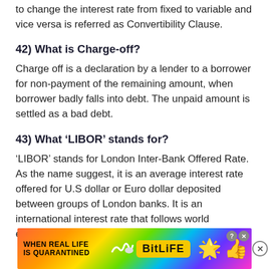to change the interest rate from fixed to variable and vice versa is referred as Convertibility Clause.
42) What is Charge-off?
Charge off is a declaration by a lender to a borrower for non-payment of the remaining amount, when borrower badly falls into debt. The unpaid amount is settled as a bad debt.
43) What ‘LIBOR’ stands for?
‘LIBOR’ stands for London Inter-Bank Offered Rate. As the name suggest, it is an average interest rate offered for U.S dollar or Euro dollar deposited between groups of London banks. It is an international interest rate that follows world economic
[Figure (infographic): Advertisement banner for BitLife mobile game with rainbow background, text 'WHEN REAL LIFE IS QUARANTINED', BitLife logo, star emoji character, and thumbs up emoji. Help and close icons at top right.]